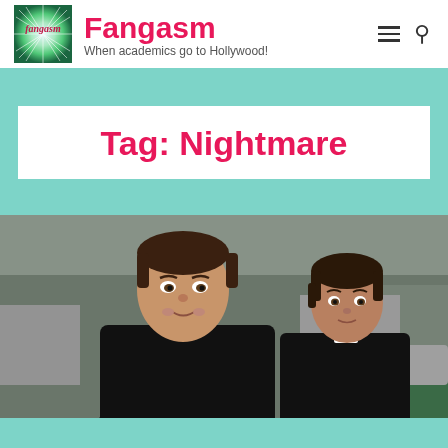Fangasm – When academics go to Hollywood!
Tag: Nightmare
[Figure (photo): A screenshot from the TV show Supernatural showing two young men dressed as priests in black clerical attire with white collars, standing outdoors near a house with trees in the background.]